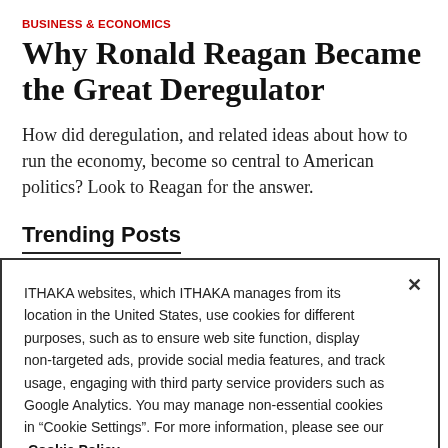BUSINESS & ECONOMICS
Why Ronald Reagan Became the Great Deregulator
How did deregulation, and related ideas about how to run the economy, become so central to American politics? Look to Reagan for the answer.
Trending Posts
ITHAKA websites, which ITHAKA manages from its location in the United States, use cookies for different purposes, such as to ensure web site function, display non-targeted ads, provide social media features, and track usage, engaging with third party service providers such as Google Analytics. You may manage non-essential cookies in “Cookie Settings”. For more information, please see our Cookie Policy.
Cookie Settings    OK, proceed